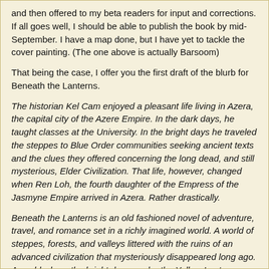and then offered to my beta readers for input and corrections. If all goes well, I should be able to publish the book by mid-September. I have a map done, but I have yet to tackle the cover painting. (The one above is actually Barsoom)
That being the case, I offer you the first draft of the blurb for Beneath the Lanterns.
The historian Kel Cam enjoyed a pleasant life living in Azera, the capital city of the Azere Empire. In the dark days, he taught classes at the University. In the bright days he traveled the steppes to Blue Order communities seeking ancient texts and the clues they offered concerning the long dead, and still mysterious, Elder Civilization. That life, however, changed when Ren Loh, the fourth daughter of the Empress of the Jasmyne Empire arrived in Azera. Rather drastically.
Beneath the Lanterns is an old fashioned novel of adventure, travel, and romance set in a richly imagined world. A world of steppes, forests, and valleys littered with the ruins of an advanced civilization that mysteriously disappeared long ago. A world where the bright days, under the Yellow Lantern are 16 days of daylight, and the equally long dark days are illuminated by the cool light of the Blue Lantern.
You are invited to explore the wide lands beneath the